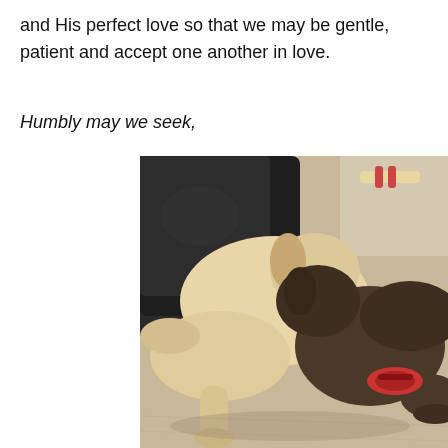and His perfect love so that we may be gentle, patient and accept one another in love.
Humbly may we seek,
[Figure (photo): Two dogs lying together on a carpeted floor next to a dark leather couch — a large tan/cream colored dog with a black collar and a smaller dark brown/gray dog, both appearing to nuzzle or play together with a rope toy nearby.]